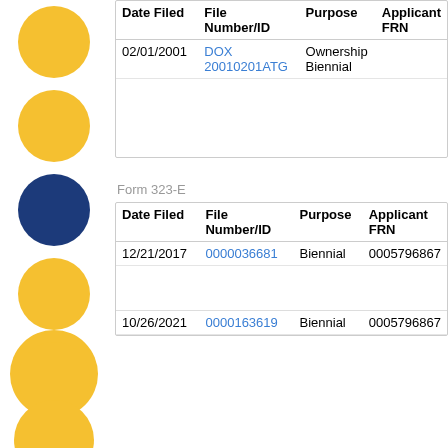| Date Filed | File Number/ID | Purpose | Applicant FRN |
| --- | --- | --- | --- |
| 02/01/2001 | DOX 20010201ATG | Ownership Biennial |  |
Form 323-E
| Date Filed | File Number/ID | Purpose | Applicant FRN |
| --- | --- | --- | --- |
| 12/21/2017 | 0000036681 | Biennial | 0005796867 |
| 10/26/2021 | 0000163619 | Biennial | 0005796867 |